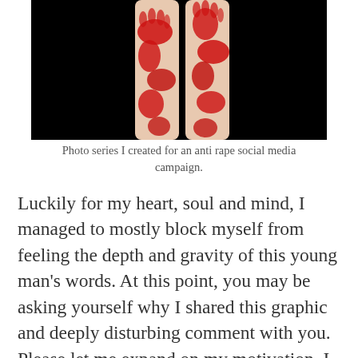[Figure (photo): A photo showing legs with red paint handprints/markings on a black background, part of an anti-rape social media campaign photo series.]
Photo series I created for an anti rape social media campaign.
Luckily for my heart, soul and mind, I managed to mostly block myself from feeling the depth and gravity of this young man’s words. At this point, you may be asking yourself why I shared this graphic and deeply disturbing comment with you. Please let me expand on my motivation. I shared with you so that you understand the gravity of the role a public naturist takes on. It’s not all sunshine, rainbows and naked daydreams.